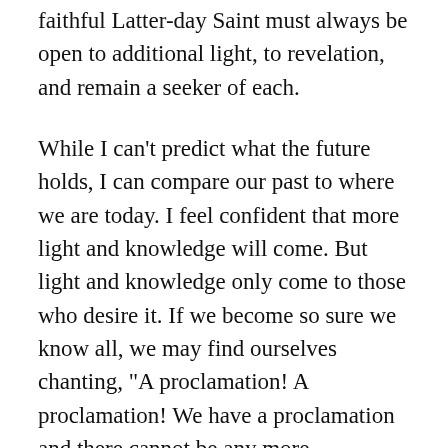faithful Latter-day Saint must always be open to additional light, to revelation, and remain a seeker of each.
While I can't predict what the future holds, I can compare our past to where we are today. I feel confident that more light and knowledge will come. But light and knowledge only come to those who desire it. If we become so sure we know all, we may find ourselves chanting, “A proclamation! A proclamation! We have a proclamation and there cannot be any more proclamation!” (2 Ne. 29:3). We are, after all, 200 years after the restoration of the gospel; our wealth is our knowledge. We must not become convinced that we know all we need to know, that we know all God wants